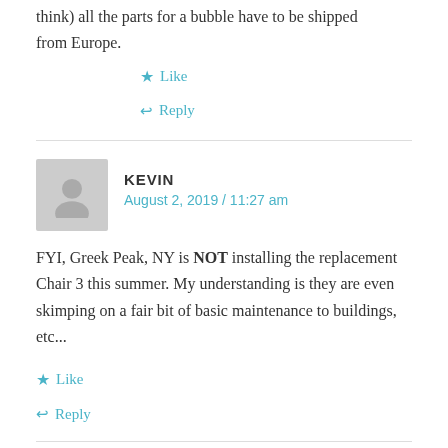think) all the parts for a bubble have to be shipped from Europe.
★ Like
↩ Reply
KEVIN
August 2, 2019 / 11:27 am
FYI, Greek Peak, NY is NOT installing the replacement Chair 3 this summer. My understanding is they are even skimping on a fair bit of basic maintenance to buildings, etc...
★ Like
↩ Reply
PETER LANDSMAN